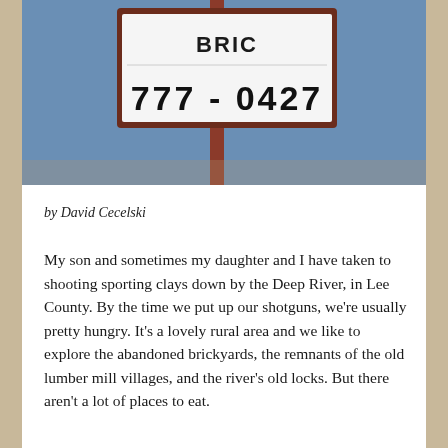[Figure (photo): Photo of a roadside sign showing partial text 'BRIC...' at top and the phone number '777-0427' in bold black numerals on a white sign with dark border, mounted on a reddish-brown pole against a blue sky.]
by David Cecelski
My son and sometimes my daughter and I have taken to shooting sporting clays down by the Deep River, in Lee County. By the time we put up our shotguns, we're usually pretty hungry. It's a lovely rural area and we like to explore the abandoned brickyards, the remnants of the old lumber mill villages, and the river's old locks. But there aren't a lot of places to eat.